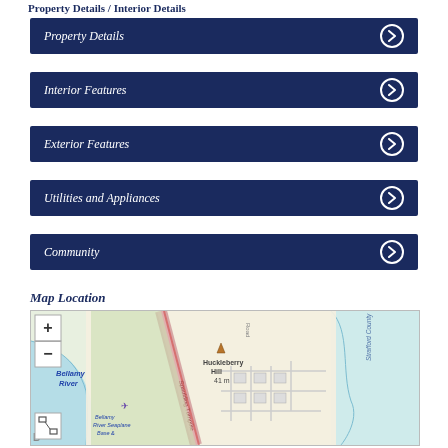Property Details / Interior Details
Property Details
Interior Features
Exterior Features
Utilities and Appliances
Community
Map Location
[Figure (map): Street map showing Bellamy River, Strafford County, Huckleberry Hill 41m, Spaulding Turnpike, Bellamy River Seaplane Base & Wildlife area, with zoom controls and fullscreen button]